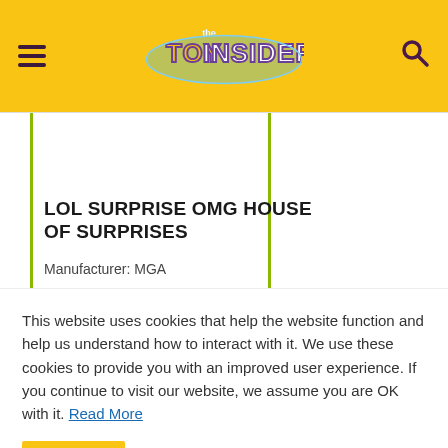The Toy Insider — navigation header with hamburger menu and search icon
LOL SURPRISE OMG HOUSE OF SURPRISES
Manufacturer: MGA
This website uses cookies that help the website function and help us understand how to interact with it. We use these cookies to provide you with an improved user experience. If you continue to visit our website, we assume you are OK with it. Read More
Got It!